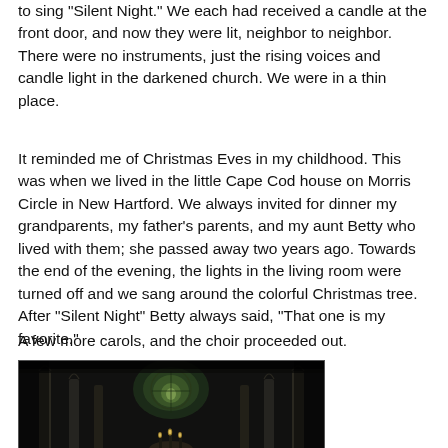The lights in the church dimmed and the congregation knelt to sing "Silent Night." We each had received a candle at the front door, and now they were lit, neighbor to neighbor. There were no instruments, just the rising voices and candle light in the darkened church. We were in a thin place.
It reminded me of Christmas Eves in my childhood. This was when we lived in the little Cape Cod house on Morris Circle in New Hartford. We always invited for dinner my grandparents, my father's parents, and my aunt Betty who lived with them; she passed away two years ago. Towards the end of the evening, the lights in the living room were turned off and we sang around the colorful Christmas tree. After "Silent Night" Betty always said, "That one is my favorite."
A few more carols, and the choir proceeded out.
[Figure (photo): Dark interior of a Gothic cathedral church with tall arched columns, a large stained glass window at the far end glowing with green and white light, and candles or lights at the altar area. The nave is dimly lit with dramatic shadowing.]